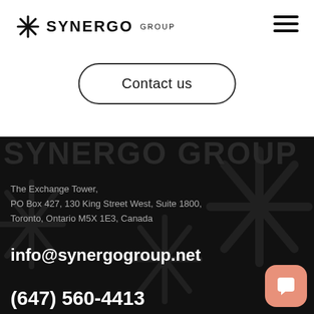[Figure (logo): Synergo Group logo with X-style icon, bold SYNERGO text and smaller GROUP text]
[Figure (other): Hamburger menu icon (three horizontal lines) in top right]
Contact us
SYNERGO GROUP
The Exchange Tower,
PO Box 427, 130 King Street West, Suite 1800,
Toronto, Ontario M5X 1E3, Canada
info@synergogroup.net
(647) 560-4413